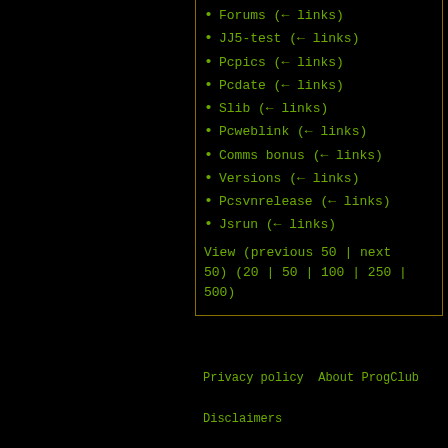Forums  (← links)
JJ5-test  (← links)
Pcpics  (← links)
Pcdate  (← links)
Slib  (← links)
Pcweblink  (← links)
Comms bonus  (← links)
Versions  (← links)
Pcsvnrelease  (← links)
Jsrun  (← links)
View (previous 50 | next 50) (20 | 50 | 100 | 250 | 500)
Privacy policy  About ProgClub

Disclaimers